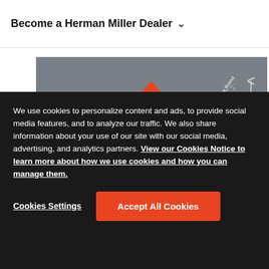Become a Herman Miller Dealer
[Figure (infographic): Herman Miller dealer tier pyramid infographic showing three tiers: Authorised Accredited Partner (top, red), Authorised Dealer Partner (middle, brown), and Authorised Dealer (bottom, teal). Right side annotations indicate 'Core Brand' (dashed line) and 'Alignment and Shared Value' (vertical arrow). Each tier has a HermanMiller logo icon on the left.]
We use cookies to personalize content and ads, to provide social media features, and to analyze our traffic. We also share information about your use of our site with our social media, advertising, and analytics partners. View our Cookies Notice to learn more about how we use cookies and how you can manage them.
Cookies Settings
Accept All Cookies